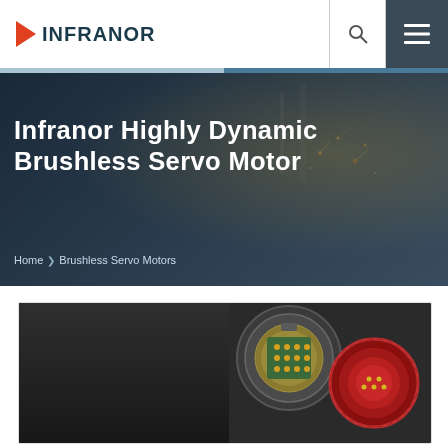[Figure (logo): Infranor logo with orange/red play-button triangle icon followed by 'INFRANOR' text in dark teal]
Infranor Highly Dynamic Brushless Servo Motor
Home › Brushless Servo Motors
[Figure (photo): Close-up photo of brushless servo motor electrical connectors, showing circular multi-pin connectors with gold pins on the left and a red circular connector on the right, against a dark motor body background]